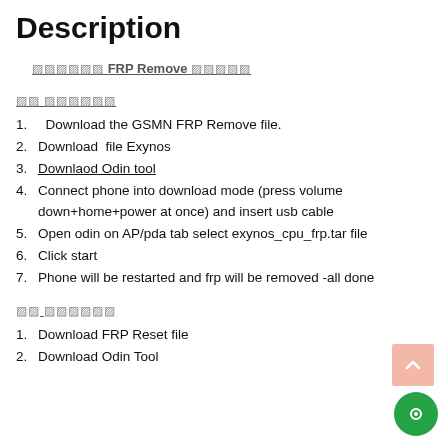Description
🔲🔲🔲🔲🔲🔲 FRP Remove 🔲🔲🔲🔲🔲
🔲🔲 🔲🔲🔲🔲🔲🔲
1. Download the GSMN FRP Remove file.
2. Download  file Exynos
3. Downlaod Odin tool
4. Connect phone into download mode (press volume down+home+power at once) and insert usb cable
5. Open odin on AP/pda tab select exynos_cpu_frp.tar file
6. Click start
7. Phone will be restarted and frp will be removed -all done
🔲🔲 🔲🔲🔲🔲🔲🔲
1. Download FRP Reset file
2. Download Odin Tool